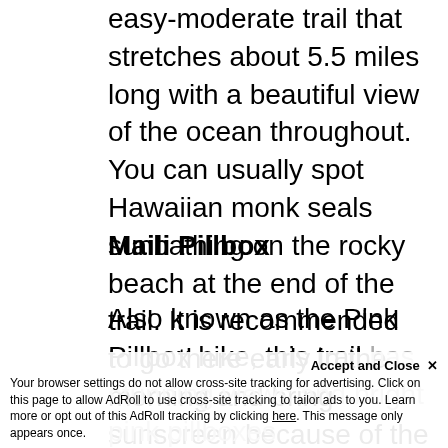easy-moderate trail that stretches about 5.5 miles long with a beautiful view of the ocean throughout. You can usually spot Hawaiian monk seals sunbathing on the rocky beach at the end of the trail. It is recommended to go there early in the morning and bring sunscreen because of the lack of shades on the trail.
Maili Pillbox
Also known as the Pink Pillbox hike, this trail has stunning views and bright pink pillboxes...
Accept and Close ✕
Your browser settings do not allow cross-site tracking for advertising. Click on this page to allow AdRoll to use cross-site tracking to tailor ads to you. Learn more or opt out of this AdRoll tracking by clicking here. This message only appears once.